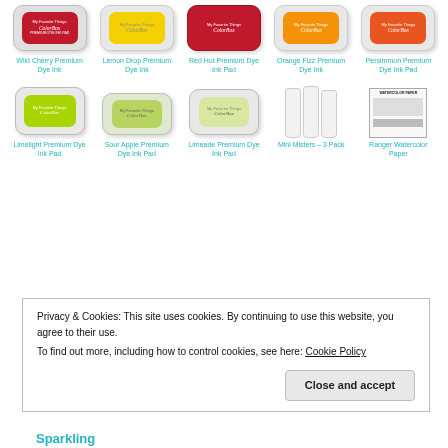[Figure (photo): Row of ink pad products: Wild Cherry, Lemon Drop, Red Hot, Orange Fizz, Persimmon Premium Dye Ink Pads]
Wild Cherry Premium Dye Ink
Lemon Drop Premium Dye Ink
Red Hot Premium Dye Ink Pad
Orange Fizz Premium Dye Ink
Persimmon Premium Dye Ink Pad
[Figure (photo): Row of green ink pad products and other items: Limelight, Sour Apple, Limeade ink pads, Mini Misters 3-pack, Ranger Watercolor Paper]
Limelight Premium Dye Ink Pad
Sour Apple Premium Dye Ink Pad
Limeade Premium Dye Ink Pad
Mini Misters – 3 Pack
Ranger Watercolor Paper
Privacy & Cookies: This site uses cookies. By continuing to use this website, you agree to their use.
To find out more, including how to control cookies, see here: Cookie Policy
Close and accept
Sparkling